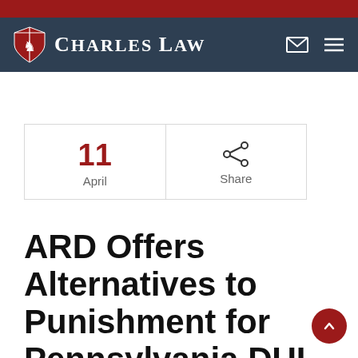Charles Law
| 11 April | Share |
| --- | --- |
ARD Offers Alternatives to Punishment for Pennsylvania DUI Arrests